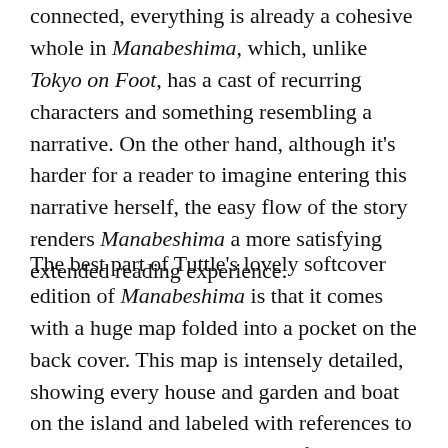connected, everything is already a cohesive whole in Manabeshima, which, unlike Tokyo on Foot, has a cast of recurring characters and something resembling a narrative. On the other hand, although it's harder for a reader to imagine entering this narrative herself, the easy flow of the story renders Manabeshima a more satisfying extended reading experience.
The best part of Tuttle's lovely softcover edition of Manabeshima is that it comes with a huge map folded into a pocket on the back cover. This map is intensely detailed, showing every house and garden and boat on the island and labeled with references to people, landmarks, and events from the main text. I spent at least an hour with the map alone, catching new